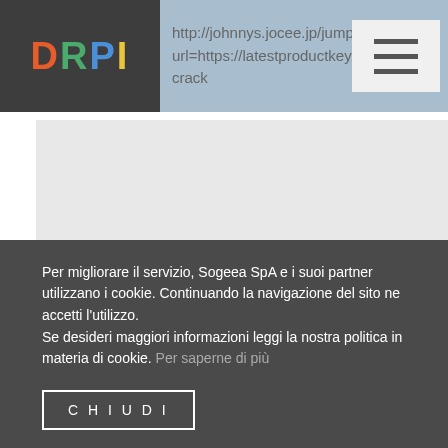http://johnnys.jocee.jp/jump/?url=https://latestproductkey.co/apowermirror-crack
[Figure (screenshot): Gray content block area 1]
[Figure (screenshot): Reply button (circular, partially visible at right edge)]
[Figure (screenshot): Gray content block area 2 with Vertise label]
Per migliorare il servizio, Sogeea SpA e i suoi partner utilizzano i cookie. Continuando la navigazione del sito ne accetti l'utilizzo.
Se desideri maggiori informazioni leggi la nostra politica in materia di cookie. Per saperne di più
CHIUDI